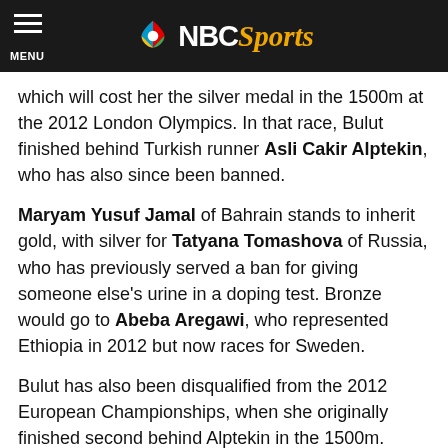NBC Sports
which will cost her the silver medal in the 1500m at the 2012 London Olympics. In that race, Bulut finished behind Turkish runner Asli Cakir Alptekin, who has also since been banned.
Maryam Yusuf Jamal of Bahrain stands to inherit gold, with silver for Tatyana Tomashova of Russia, who has previously served a ban for giving someone else's urine in a doping test. Bronze would go to Abeba Aregawi, who represented Ethiopia in 2012 but now races for Sweden.
Bulut has also been disqualified from the 2012 European Championships, when she originally finished second behind Alptekin in the 1500m. Spanish runner Nuria Fernandez, originally fifth, is now the highest-placed athlete who has not been disqualified from that race for doping violations.